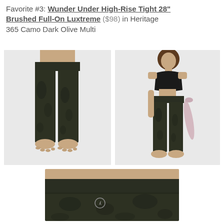Favorite #3: Wunder Under High-Rise Tight 28" Brushed Full-On Luxtreme ($98) in Heritage 365 Camo Dark Olive Multi
[Figure (photo): Close-up of model's lower body showing camo dark olive high-rise leggings, frontal view, no top visible]
[Figure (photo): Full-body model in black crop top and camo dark olive high-rise leggings holding a yoga mat]
[Figure (photo): Close-up detail of waistband and hip area of camo dark olive high-rise leggings with lululemon logo]